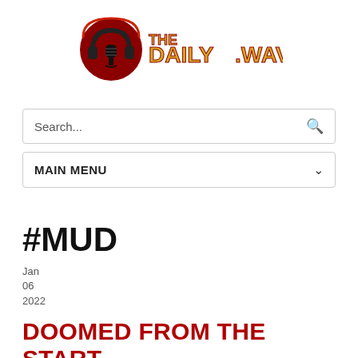[Figure (logo): TheDailyWav logo: headphone icon with microphone and text 'THEDAILY.WAV' in yellow/gold bold lettering with dark red/maroon outline]
Search...
MAIN MENU
#MUD
Jan
06
2022
DOOMED FROM THE START